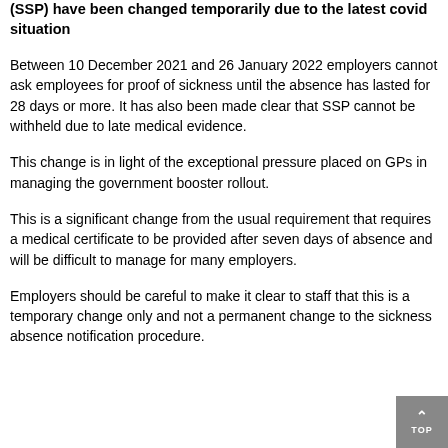(SSP) have been changed temporarily due to the latest covid situation
Between 10 December 2021 and 26 January 2022 employers cannot ask employees for proof of sickness until the absence has lasted for 28 days or more. It has also been made clear that SSP cannot be withheld due to late medical evidence.
This change is in light of the exceptional pressure placed on GPs in managing the government booster rollout.
This is a significant change from the usual requirement that requires a medical certificate to be provided after seven days of absence and will be difficult to manage for many employers.
Employers should be careful to make it clear to staff that this is a temporary change only and not a permanent change to the sickness absence notification procedure.